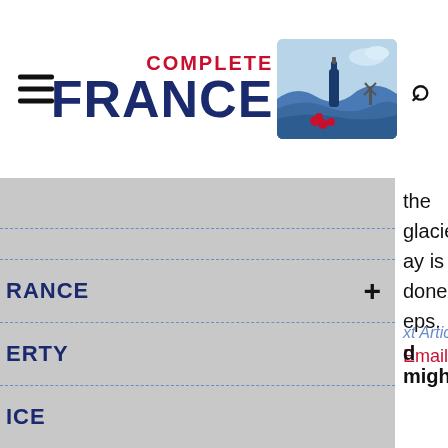[Figure (logo): Complete France website header logo with hamburger menu, logo text (COMPLETE FRANCE in navy/red), illustrated graphic of French countryside with wine bottle, and search icon]
FRANCE +
PERTY
ICE
the glaciers
ay is done,
eps.
Email
xt Article
d mighty >